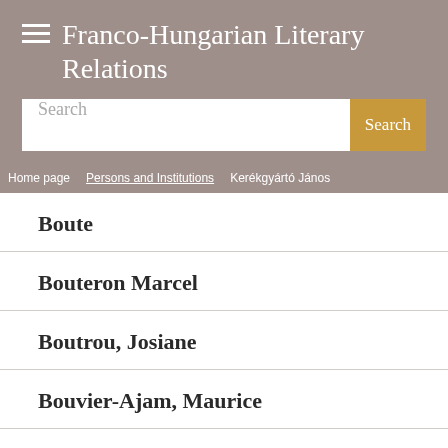≡ Franco-Hungarian Literary Relations
Search
Home page > Persons and Institutions > Kerékgyártó János
Boute
Bouteron Marcel
Boutrou, Josiane
Bouvier-Ajam, Maurice
Bouver, P. Louis